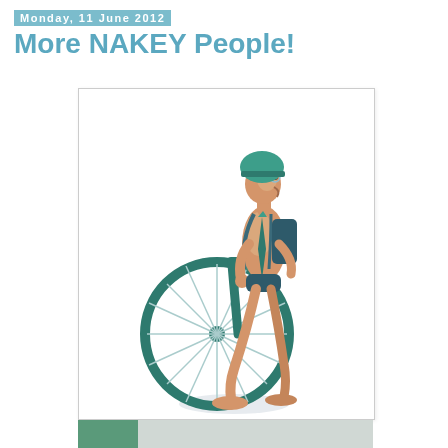Monday, 11 June 2012
More NAKEY People!
[Figure (illustration): Digital illustration of a naked person wearing only a green bicycle helmet, green tie, and a small backpack, standing beside a tall-wheeled green bicycle (penny-farthing style front wheel). The figure is depicted in a stylized cartoon art style with warm skin tones. The background is white.]